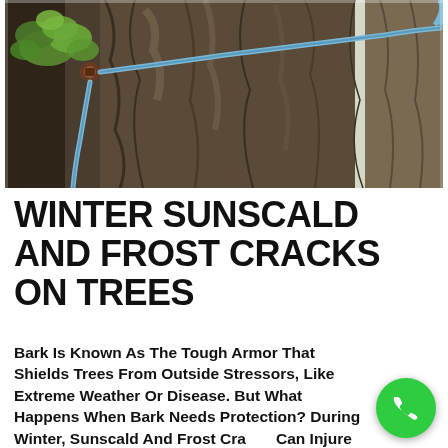[Figure (photo): Close-up photograph of a large tree trunk with rough dark bark. A blue rope or cable is visible running along the trunk and into upper branches. Green leaves are visible in the upper left area. The scene suggests tree cabling/bracing work.]
WINTER SUNSCALD AND FROST CRACKS ON TREES
Bark Is Known As The Tough Armor That Shields Trees From Outside Stressors, Like Extreme Weather Or Disease. But What Happens When Bark Needs Protection? During Winter, Sunscald And Frost Cracks Can Injure Tree Bark, Which In Turn Threatens The Health Of Our Trees. But With Your Help, Bark Damage Can Be Prevented. So Let's ...